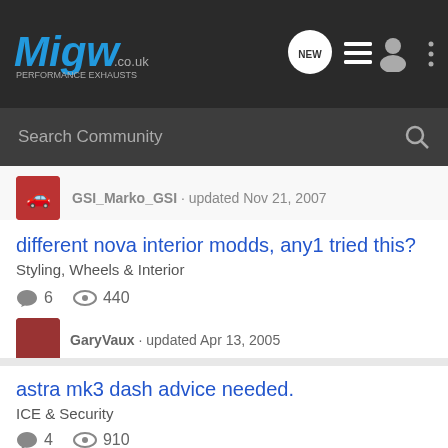[Figure (logo): Migw performance exhausts logo in blue/teal italic font on dark background]
Search Community
GSI_Marko_GSI · updated Nov 21, 2007
different nova interior modds, any1 tried this?
Styling, Wheels & Interior
6   440
GaryVaux · updated Apr 13, 2005
astra mk3 dash advice needed.
ICE & Security
4   910
danjackson999 · updated Jun 30, 2005